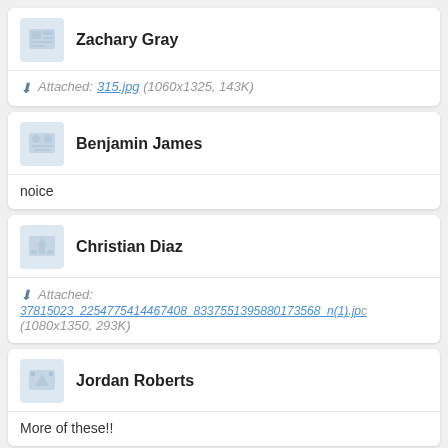Zachary Gray
Attached: 315.jpg (1060x1325, 143K)
Benjamin James
noice
Christian Diaz
Attached: 37815023_2254775414467408_8337551395880173568_n(1).jpg (1080x1350, 293K)
Jordan Roberts
More of these!!